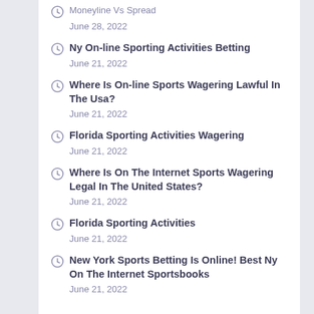Ny On-line Sporting Activities Betting
June 21, 2022
Where Is On-line Sports Wagering Lawful In The Usa?
June 21, 2022
Florida Sporting Activities Wagering
June 21, 2022
Where Is On The Internet Sports Wagering Legal In The United States?
June 21, 2022
Florida Sporting Activities
June 21, 2022
New York Sports Betting Is Online! Best Ny On The Internet Sportsbooks
June 21, 2022